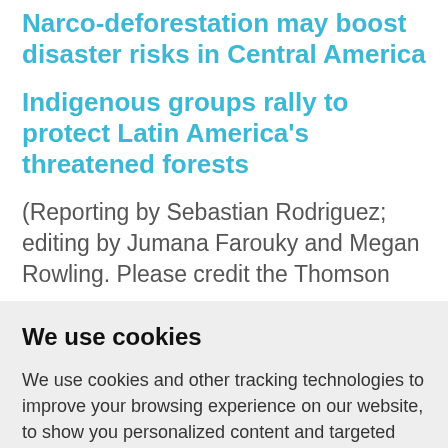Narco-deforestation may boost disaster risks in Central America
Indigenous groups rally to protect Latin America's threatened forests
(Reporting by Sebastian Rodriguez; editing by Jumana Farouky and Megan Rowling. Please credit the Thomson
We use cookies
We use cookies and other tracking technologies to improve your browsing experience on our website, to show you personalized content and targeted ads, to analyze our website traffic, and to understand where our visitors are coming from.